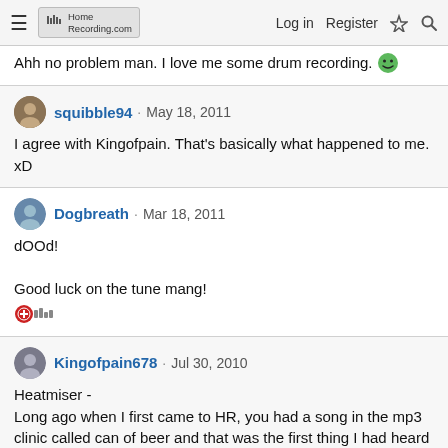HomeRecording.com | Log in | Register
Ahh no problem man. I love me some drum recording. 😁
squibble94 · May 18, 2011
I agree with Kingofpain. That's basically what happened to me. xD
Dogbreath · Mar 18, 2011
dOOd!

Good luck on the tune mang!
Kingofpain678 · Jul 30, 2010
Heatmiser -
Long ago when I first came to HR, you had a song in the mp3 clinic called can of beer and that was the first thing I had heard